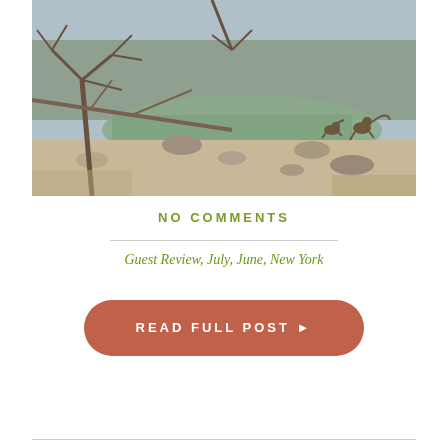[Figure (photo): Outdoor nature photograph showing a dry rocky riverbed or watering hole with sparse dead trees and branches in the foreground, a shallow body of greenish water in the middle ground, rocks and sandy terrain, with baboons or monkeys visible in the background right area.]
NO COMMENTS
Guest Review, July, June, New York
READ FULL POST ▶